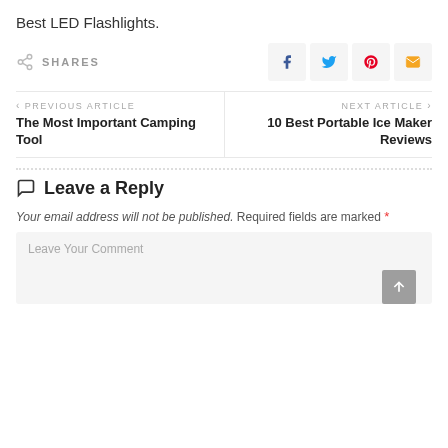Best LED Flashlights.
SHARES
PREVIOUS ARTICLE
The Most Important Camping Tool
NEXT ARTICLE
10 Best Portable Ice Maker Reviews
Leave a Reply
Your email address will not be published. Required fields are marked *
Leave Your Comment